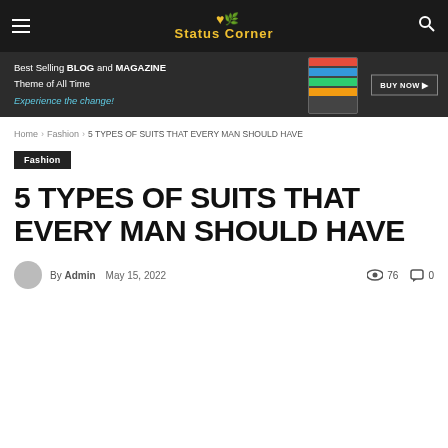Status Corner — hamburger menu, logo, search icon
[Figure (infographic): Promotional banner: Best Selling BLOG and MAGAZINE Theme of All Time. Experience the change! BUY NOW button, with dark background and tablet/screen imagery.]
Home › Fashion › 5 TYPES OF SUITS THAT EVERY MAN SHOULD HAVE
Fashion
5 TYPES OF SUITS THAT EVERY MAN SHOULD HAVE
By Admin  May 15, 2022  76 views  0 comments